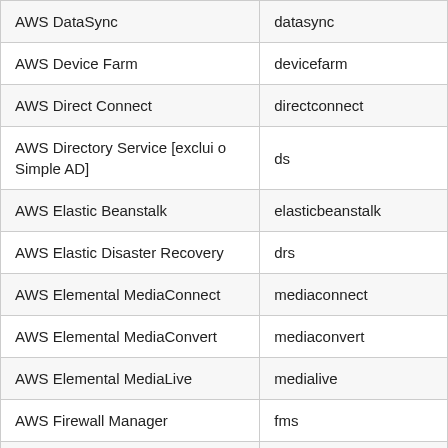| AWS DataSync | datasync |
| AWS Device Farm | devicefarm |
| AWS Direct Connect | directconnect |
| AWS Directory Service [exclui o Simple AD] | ds |
| AWS Elastic Beanstalk | elasticbeanstalk |
| AWS Elastic Disaster Recovery | drs |
| AWS Elemental MediaConnect | mediaconnect |
| AWS Elemental MediaConvert | mediaconvert |
| AWS Elemental MediaLive | medialive |
| AWS Firewall Manager | fms |
| AWS Global Accelerator | globalaccelerator |